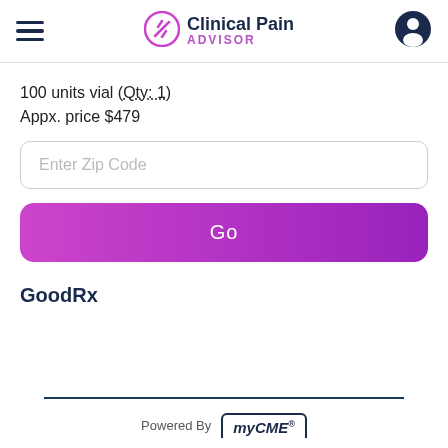Clinical Pain ADVISOR
100 units vial (Qty: 1)
Appx. price $479
Enter Zip Code
Go
GoodRx
Powered By myCME®